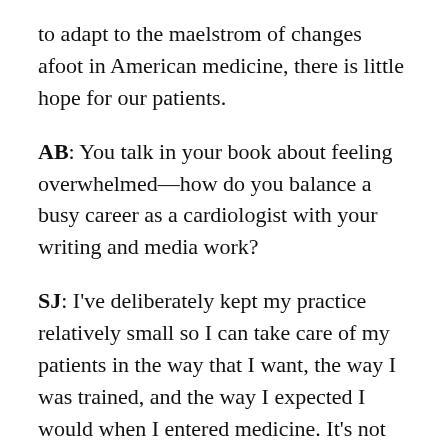to adapt to the maelstrom of changes afoot in American medicine, there is little hope for our patients.
AB: You talk in your book about feeling overwhelmed—how do you balance a busy career as a cardiologist with your writing and media work?
SJ: I've deliberately kept my practice relatively small so I can take care of my patients in the way that I want, the way I was trained, and the way I expected I would when I entered medicine. It's not perfect, but it's a lot better than when I was running on my own daily treadmill. The writing thing is sort of cyclical. When a book is published, there is a lot of media coverage and as an author I have to make myself available for interviews and so on.